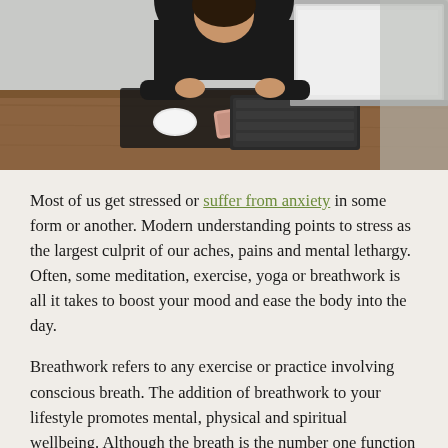[Figure (photo): Person sitting at a wooden desk with a laptop, mouse, phone, and glasses in the foreground, appearing stressed with head in hands.]
Most of us get stressed or suffer from anxiety in some form or another. Modern understanding points to stress as the largest culprit of our aches, pains and mental lethargy. Often, some meditation, exercise, yoga or breathwork is all it takes to boost your mood and ease the body into the day.
Breathwork refers to any exercise or practice involving conscious breath. The addition of breathwork to your lifestyle promotes mental, physical and spiritual wellbeing. Although the breath is the number one function that promotes life, we